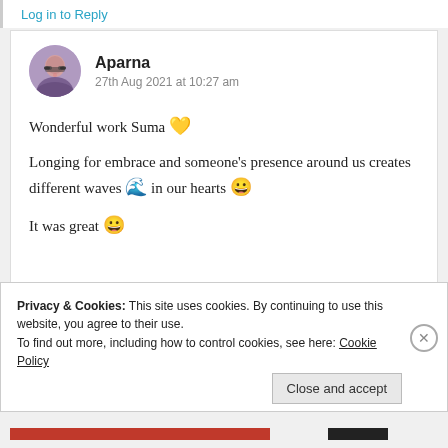Log in to Reply
Aparna
27th Aug 2021 at 10:27 am
Wonderful work Suma 💛
Longing for embrace and someone's presence around us creates different waves 🌊 in our hearts 😀
It was great 😀
Privacy & Cookies: This site uses cookies. By continuing to use this website, you agree to their use.
To find out more, including how to control cookies, see here: Cookie Policy
Close and accept